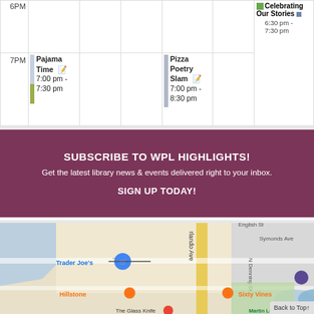|  | Col1 | Col2 | Col3 | Col4 | Col5 | Legend |
| --- | --- | --- | --- | --- | --- | --- |
| 6PM |  |  |  |  |  | Celebrating Our Stories 6:30pm - 7:30pm |
| 7PM | Pajama Time 7:00pm - 7:30pm |  |  | Pizza Poetry Slam 7:00pm - 8:30pm |  |  |
SUBSCRIBE TO WPL HIGHLIGHTS!
Get the latest library news & events delivered right to your inbox.
SIGN UP TODAY!
[Figure (map): Google map showing Winter Park Library location near Trader Joe's, Hillstone, Sixty Vines, The Glass Knife, Martin Luther King Jr. Park, and Community Playground. Streets visible: rlando Ave (Orlando Ave), N Denning Dr, Symonds Ave, English St.]